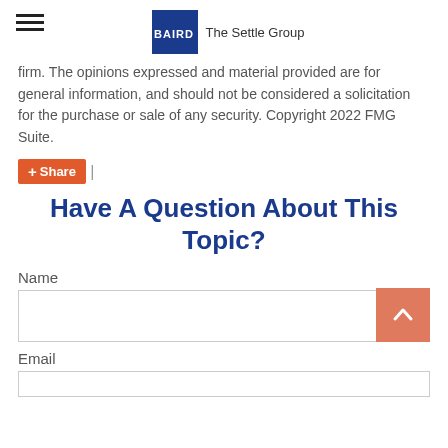BAIRD | The Settle Group
firm. The opinions expressed and material provided are for general information, and should not be considered a solicitation for the purchase or sale of any security. Copyright 2022 FMG Suite.
+ Share |
Have A Question About This Topic?
Name
Email